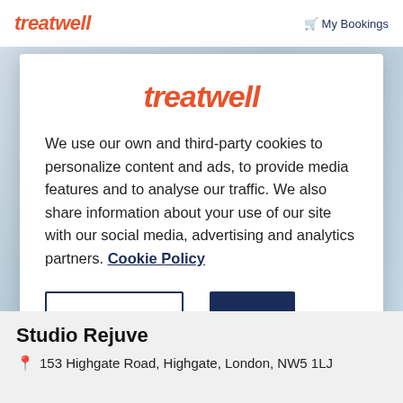treatwell   My Bookings
[Figure (screenshot): Blurred background image of a salon/spa interior behind the modal dialog]
treatwell
We use our own and third-party cookies to personalize content and ads, to provide media features and to analyse our traffic. We also share information about your use of our site with our social media, advertising and analytics partners. Cookie Policy
Cookies Settings
Accept All
Studio Rejuve
153 Highgate Road, Highgate, London, NW5 1LJ